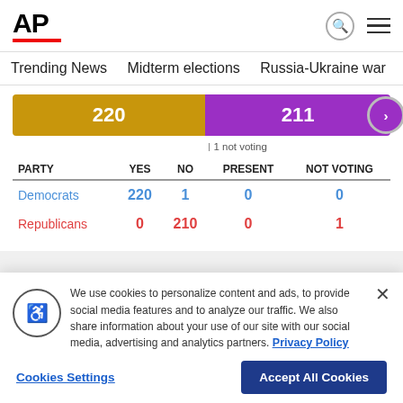[Figure (logo): AP (Associated Press) logo with red underline bar]
Trending News   Midterm elections   Russia-Ukraine war   Dona
[Figure (stacked-bar-chart): Horizontal bar showing 220 (gold/Democrat) vs 211 (purple/Republican) with 1 not voting]
1 not voting
| PARTY | YES | NO | PRESENT | NOT VOTING |
| --- | --- | --- | --- | --- |
| Democrats | 220 | 1 | 0 | 0 |
| Republicans | 0 | 210 | 0 | 1 |
We use cookies to personalize content and ads, to provide social media features and to analyze our traffic. We also share information about your use of our site with our social media, advertising and analytics partners. Privacy Policy
Cookies Settings   Accept All Cookies